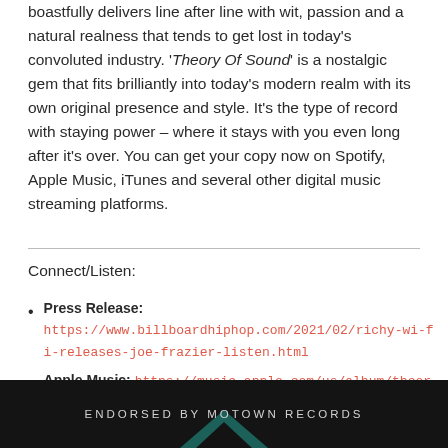boastfully delivers line after line with wit, passion and a natural realness that tends to get lost in today's convoluted industry. 'Theory Of Sound' is a nostalgic gem that fits brilliantly into today's modern realm with its own original presence and style. It's the type of record with staying power – where it stays with you even long after it's over. You can get your copy now on Spotify, Apple Music, iTunes and several other digital music streaming platforms.
Connect/Listen:
Press Release: https://www.billboardhiphop.com/2021/02/richy-wi-fi-releases-joe-frazier-listen.html
Apple Music: https://music.apple.com/us/album/theory-of-sound/1542878281
[Figure (photo): Dark background image with 'ENDORSED BY MOTOWN RECORDS' text and a teal/turquoise arrow-like graphic at the bottom]